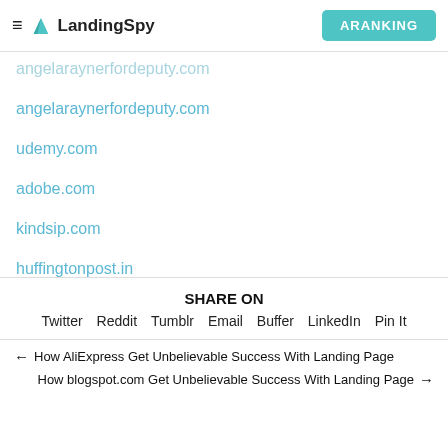≡ LandingSpy | ARANKING
angelaraynerfordeputy.com
udemy.com
adobe.com
kindsip.com
huffingtonpost.in
SHARE ON
Twitter   Reddit   Tumblr   Email   Buffer   LinkedIn   Pin It
← How AliExpress Get Unbelievable Success With Landing Page
How blogspot.com Get Unbelievable Success With Landing Page →